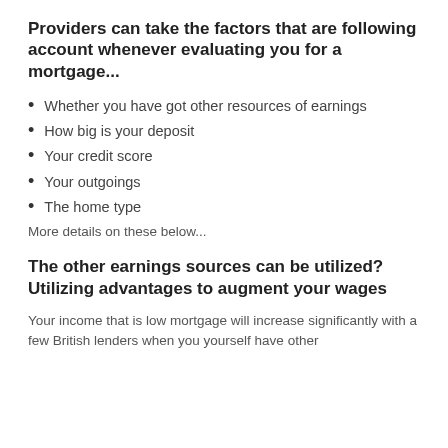Providers can take the factors that are following account whenever evaluating you for a mortgage...
Whether you have got other resources of earnings
How big is your deposit
Your credit score
Your outgoings
The home type
More details on these below...
The other earnings sources can be utilized? Utilizing advantages to augment your wages
Your income that is low mortgage will increase significantly with a few British lenders when you yourself have other